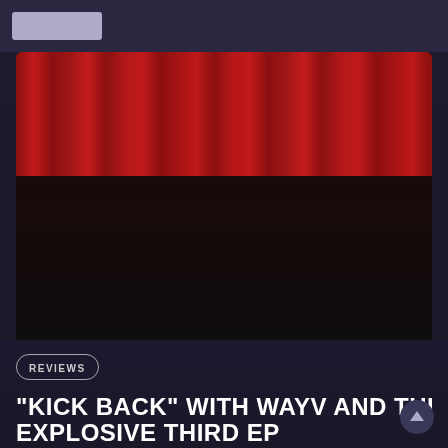[Figure (photo): Group promotional photo of WayV, a K-pop group, seven members in black formal outfits with pearl necklaces, posing against red curtain backdrop]
REVIEWS
"KICK BACK" WITH WAYV AND THEIR